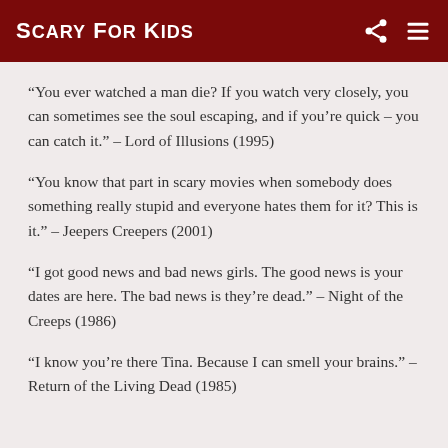Scary For Kids
“You ever watched a man die? If you watch very closely, you can sometimes see the soul escaping, and if you’re quick – you can catch it.” – Lord of Illusions (1995)
“You know that part in scary movies when somebody does something really stupid and everyone hates them for it? This is it.” – Jeepers Creepers (2001)
“I got good news and bad news girls. The good news is your dates are here. The bad news is they’re dead.” – Night of the Creeps (1986)
“I know you’re there Tina. Because I can smell your brains.” – Return of the Living Dead (1985)